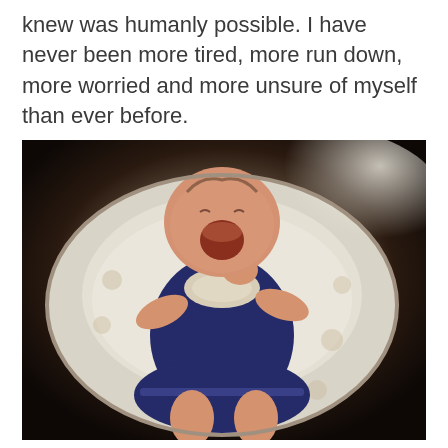knew was humanly possible. I have never been more tired, more run down, more worried and more unsure of myself than ever before.
[Figure (photo): A newborn baby girl in a navy blue smocked dress, lying on a white nursing pillow with a muslin blanket featuring a monkey pattern. The baby appears to be crying or yawning with her mouth wide open and hand raised near her face.]